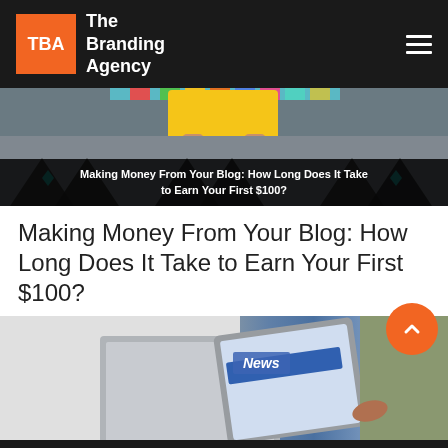TBA The Branding Agency
[Figure (photo): Hero banner image showing a person in a yellow jacket holding a laptop/tablet, with colorful chevron/triangle pattern decorations. Overlaid dark banner with bold white text reading 'Making Money From Your Blog: How Long Does It Take to Earn Your First $100?']
Making Money From Your Blog: How Long Does It Take to Earn Your First $100?
[Figure (photo): Photo of a laptop and tablet device showing a news website with 'News' label visible, person's hand touching screen, blurred background with green plants]